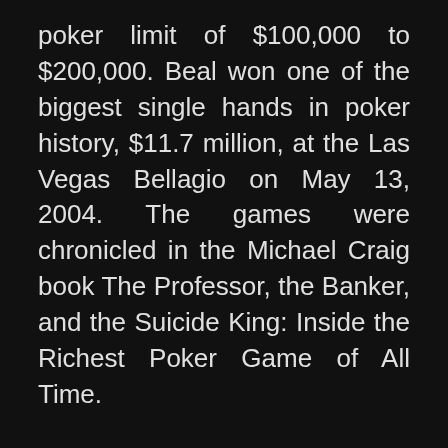poker limit of $100,000 to $200,000. Beal won one of the biggest single hands in poker history, $11.7 million, at the Las Vegas Bellagio on May 13, 2004. The games were chronicled in the Michael Craig book The Professor, the Banker, and the Suicide King: Inside the Richest Poker Game of All Time.
Although the games described in Craig's book ended in 2004, Beal returned to Las Vegas from February 1-5, 2006 to take on "The Corporation" again at the Wynn